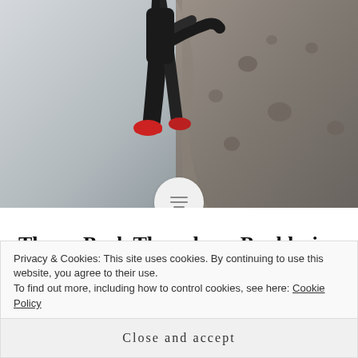[Figure (photo): A person bouldering/rock climbing outdoors, wearing black leggings and a red shoe, climbing on a large grey rock face, against a cloudy sky background.]
Throw Back Thursday – Bouldering
Bouldering – Burbage, Peak District – August 2010 Climbing and bouldering has been a hobby of mine for about eight years now. I love the fact that it gives you a full body and brain work out. Heading to the climbing wall is great for
Privacy & Cookies: This site uses cookies. By continuing to use this website, you agree to their use.
To find out more, including how to control cookies, see here: Cookie Policy
Close and accept